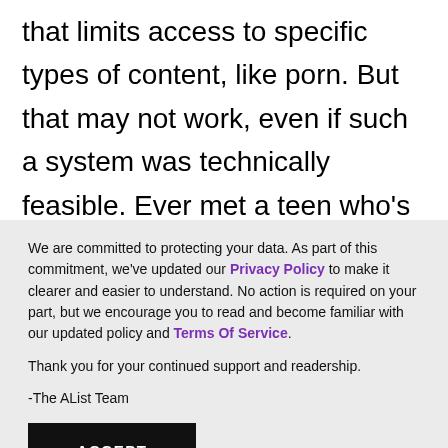that limits access to specific types of content, like porn. But that may not work, even if such a system was technically feasible. Ever met a teen who's seen content intended for an 18+ audience? Ever met a teen who's tasted a beer? It's unlikely that fast food or salty snack-related content will ever be considered adult-only since
We are committed to protecting your data. As part of this commitment, we've updated our Privacy Policy to make it clearer and easier to understand. No action is required on your part, but we encourage you to read and become familiar with our updated policy and Terms Of Service.
Thank you for your continued support and readership.
-The AList Team
ACCEPT